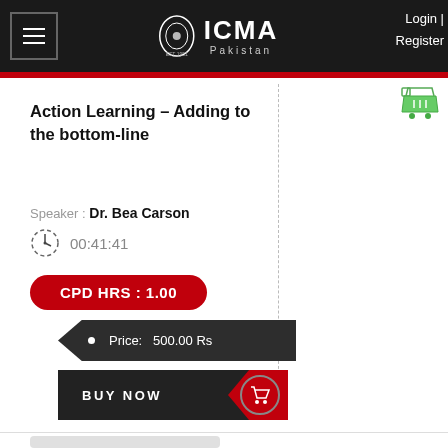ICMA Pakistan | Login | Register
Action Learning – Adding to the bottom-line
Speaker : Dr. Bea Carson
00:41:41
CPD HRS : 1.00
Price: 500.00 Rs
BUY NOW